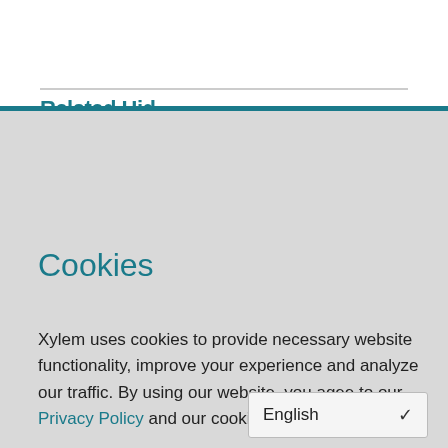Related Hid…
Cookies
Xylem uses cookies to provide necessary website functionality, improve your experience and analyze our traffic. By using our website, you agee to our Privacy Policy and our cookies usage.
Ok
Customize Cookies
Why am I seeing this?
English